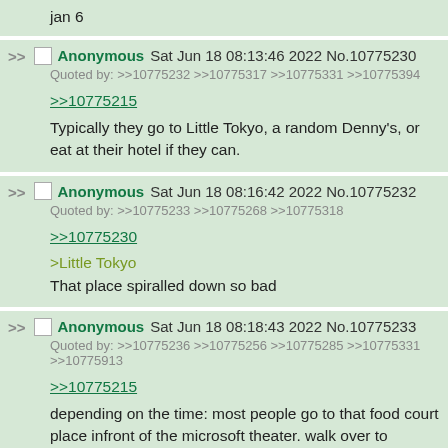jan 6
Anonymous Sat Jun 18 08:13:46 2022 No.10775230
Quoted by: >>10775232 >>10775317 >>10775331 >>10775394
>>10775215
Typically they go to Little Tokyo, a random Denny's, or eat at their hotel if they can.
Anonymous Sat Jun 18 08:16:42 2022 No.10775232
Quoted by: >>10775233 >>10775268 >>10775318
>>10775230
>Little Tokyo
That place spiralled down so bad
Anonymous Sat Jun 18 08:18:43 2022 No.10775233
Quoted by: >>10775236 >>10775256 >>10775285 >>10775331 >>10775913
>>10775215
depending on the time: most people go to that food court place infront of the microsoft theater. walk over to Dennys which is a bit further down the road from the convention center. go to little